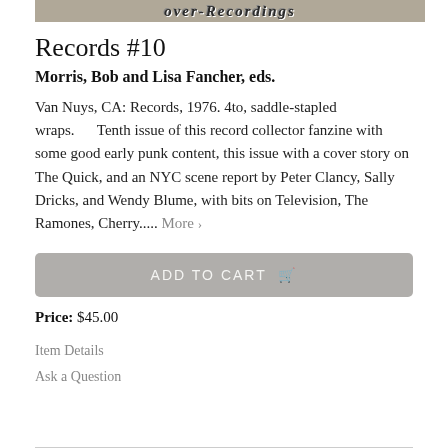[Figure (other): Decorative header image with stylized text overlay on gray background]
Records #10
Morris, Bob and Lisa Fancher, eds.
Van Nuys, CA: Records, 1976. 4to, saddle-stapled wraps.      Tenth issue of this record collector fanzine with some good early punk content, this issue with a cover story on The Quick, and an NYC scene report by Peter Clancy, Sally Dricks, and Wendy Blume, with bits on Television, The Ramones, Cherry.....  More >
ADD TO CART
Price: $45.00
Item Details
Ask a Question